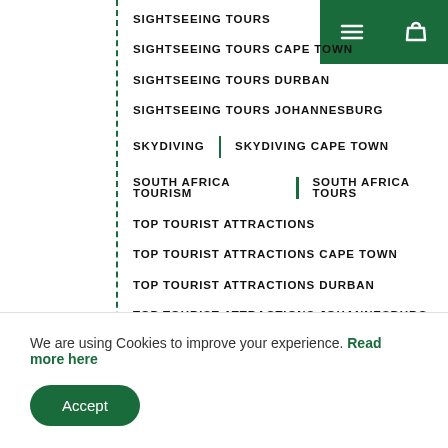SIGHTSEEING TOURS
SIGHTSEEING TOURS CAPE TOWN
SIGHTSEEING TOURS DURBAN
SIGHTSEEING TOURS JOHANNESBURG
SKYDIVING | SKYDIVING CAPE TOWN
SOUTH AFRICA TOURISM | SOUTH AFRICA TOURS
TOP TOURIST ATTRACTIONS
TOP TOURIST ATTRACTIONS CAPE TOWN
TOP TOURIST ATTRACTIONS DURBAN
TOP TOURIST ATTRACTIONS JOHANNESBURG
TOP TRAVEL DESTINATIONS CAPE TOWN
TOP TRAVEL DESTINATIONS DURBAN
TOP TRAVEL DESTINATIONS JOHANNESBURG
TOUR OPERATORS
TOUR OPERATORS CAPE TOWN
We are using Cookies to improve your experience. Read more here
Accept